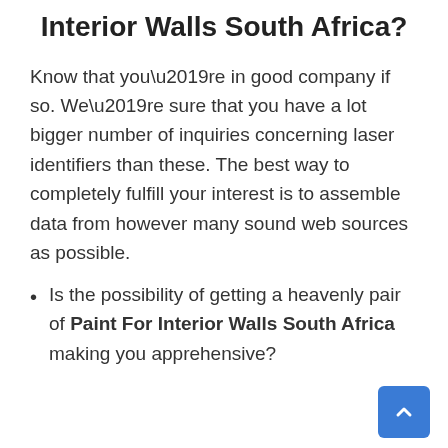Interior Walls South Africa?
Know that you’re in good company if so. We’re sure that you have a lot bigger number of inquiries concerning laser identifiers than these. The best way to completely fulfill your interest is to assemble data from however many sound web sources as possible.
Is the possibility of getting a heavenly pair of Paint For Interior Walls South Africa making you apprehensive?